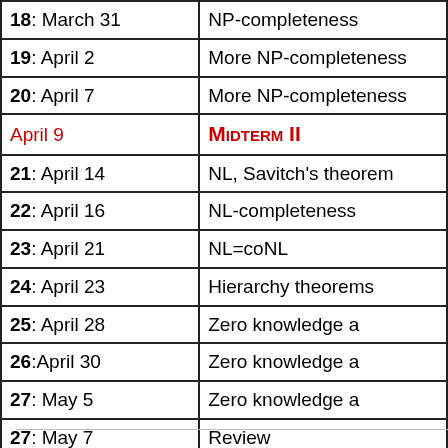| Lecture / Date | Topic |
| --- | --- |
| 18: March 31 | NP-completeness |
| 19: April 2 | More NP-completeness |
| 20: April 7 | More NP-completeness |
| April 9 | Midterm II |
| 21: April 14 | NL, Savitch's theorem |
| 22: April 16 | NL-completeness |
| 23: April 21 | NL=coNL |
| 24: April 23 | Hierarchy theorems |
| 25: April 28 | Zero knowledge and |
| 26: April 30 | Zero knowledge and |
| 27: May 5 | Zero knowledge and |
| 27: May 7 | Review |